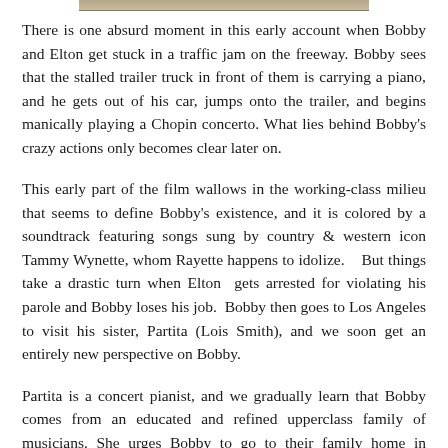[Figure (photo): Partial image strip visible at top of page, appears to be a cropped photograph]
There is one absurd moment in this early account when Bobby and Elton get stuck in a traffic jam on the freeway. Bobby sees that the stalled trailer truck in front of them is carrying a piano, and he gets out of his car, jumps onto the trailer, and begins manically playing a Chopin concerto. What lies behind Bobby's crazy actions only becomes clear later on.
This early part of the film wallows in the working-class milieu that seems to define Bobby's existence, and it is colored by a soundtrack featuring songs sung by country & western icon Tammy Wynette, whom Rayette happens to idolize.   But things take a drastic turn when Elton  gets arrested for violating his parole and Bobby loses his job.  Bobby then goes to Los Angeles to visit his sister, Partita (Lois Smith), and we soon get an entirely new perspective on Bobby.
Partita is a concert pianist, and we gradually learn that Bobby comes from an educated and refined upperclass family of musicians. She urges Bobby to go to their family home in Washington state to visit their dying father, from